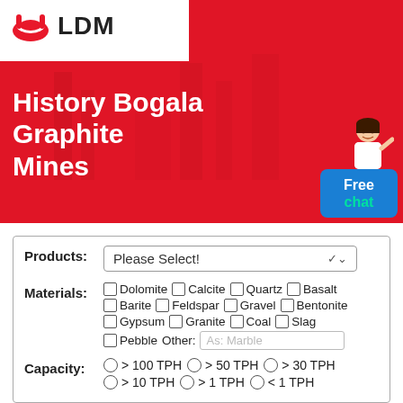[Figure (logo): LDM logo with red icon and bold LDM text]
History Bogala Graphite Mines
[Figure (illustration): Small customer service representative character illustration next to Free chat button]
Free chat
Products: Please Select!
Materials: Dolomite Calcite Quartz Basalt Barite Feldspar Gravel Bentonite Gypsum Granite Coal Slag Pebble Other: As: Marble
Capacity: > 100 TPH > 50 TPH > 30 TPH > 10 TPH > 1 TPH < 1 TPH